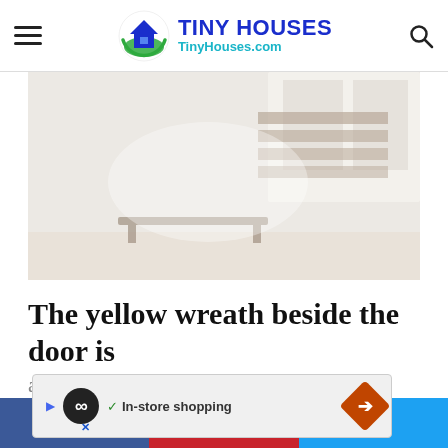TINY HOUSES - TinyHouses.com
[Figure (photo): Interior room photo, light and airy with furniture silhouettes, very washed out/light tones]
The yellow wreath beside the door is a dream of beauty, but inside…
In-store shopping (advertisement banner)
f 872  |  P 1  |  Twitter share button